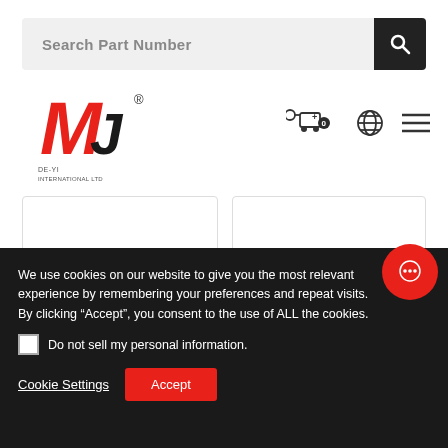Search Part Number
[Figure (logo): MJ De-Yi International Ltd logo in red and black]
[Figure (infographic): Navigation icons: shopping cart, globe, hamburger menu]
[Figure (other): ADD TO QUOTE button card 1]
[Figure (other): ADD TO QUOTE button card 2]
[Figure (photo): Product card with gasket/seal component image, left]
[Figure (photo): Product card with gasket/seal component image, right]
We use cookies on our website to give you the most relevant experience by remembering your preferences and repeat visits. By clicking “Accept”, you consent to the use of ALL the cookies.
Do not sell my personal information.
Cookie Settings
Accept